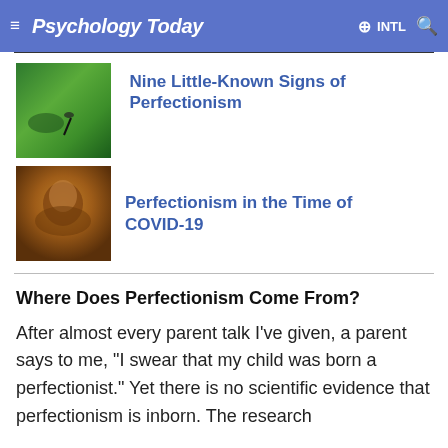Psychology Today  INTL
[Figure (photo): Green abstract nature photo with dark silhouette]
Nine Little-Known Signs of Perfectionism
[Figure (photo): Person in amber/orange tones, looking down]
Perfectionism in the Time of COVID-19
Where Does Perfectionism Come From?
After almost every parent talk I've given, a parent says to me, "I swear that my child was born a perfectionist." Yet there is no scientific evidence that perfectionism is inborn. The research